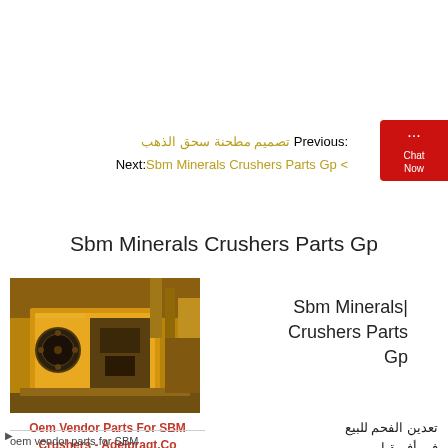Previous: تصميم مطحنة سحق الذهب
Next: Sbm Minerals Crushers Parts Gp
Sbm Minerals Crushers Parts Gp
[Figure (photo): Yellow industrial jaw crusher machine in a facility]
Sbm Minerals Crushers Parts Gp
Oem Vendor Parts For SBM Crushers - Adelpragt.Co
تعدين الفحم للبيع في أفريقيا
oem vendor parts for SBM